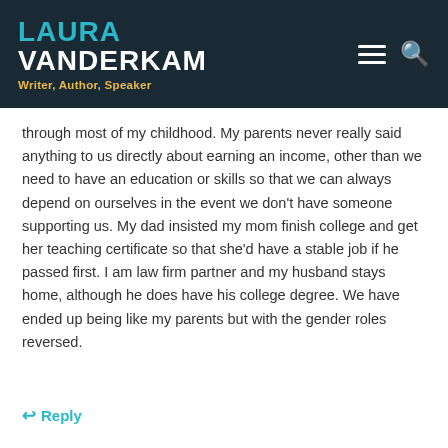LAURA VANDERKAM — Writer, Author, Speaker
through most of my childhood. My parents never really said anything to us directly about earning an income, other than we need to have an education or skills so that we can always depend on ourselves in the event we don't have someone supporting us. My dad insisted my mom finish college and get her teaching certificate so that she'd have a stable job if he passed first. I am law firm partner and my husband stays home, although he does have his college degree. We have ended up being like my parents but with the gender roles reversed.
↩ Reply